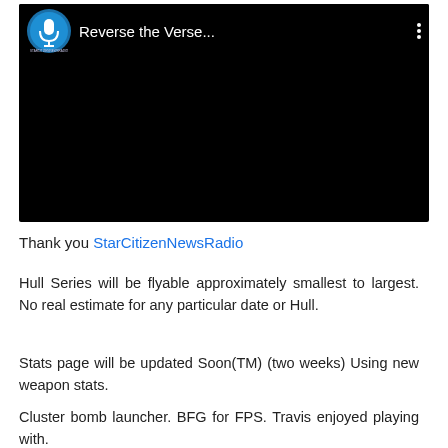[Figure (screenshot): Embedded video player showing a dark/black screen with a circular podcast logo (blue microphone icon) on the left, title text 'Reverse the Verse...' in white, and a three-dot menu icon on the right. The video content area is black.]
Thank you StarCitizenNewsRadio
Hull Series will be flyable approximately smallest to largest. No real estimate for any particular date or Hull.
Stats page will be updated Soon(TM) (two weeks) Using new weapon stats.
Cluster bomb launcher. BFG for FPS. Travis enjoyed playing with.